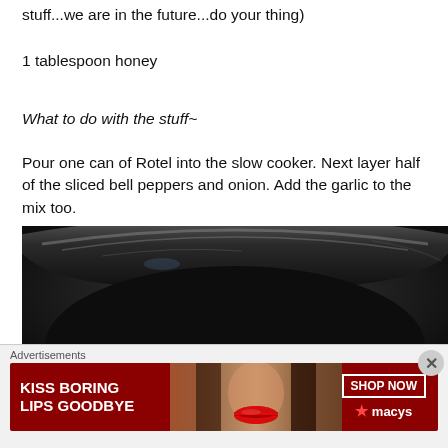stuff...we are in the future...do your thing)
1 tablespoon honey
What to do with the stuff~
Pour one can of Rotel into the slow cooker. Next layer half of the sliced bell peppers and onion. Add the garlic to the mix too.
[Figure (photo): Close-up photo of a dark slow cooker interior, showing the black rounded rim and sides of the cooker.]
Advertisements
[Figure (photo): Advertisement banner for Macy's featuring text 'KISS BORING LIPS GOODBYE' in white on a dark red background, a woman's face with red lips, a 'SHOP NOW' button, and the Macy's star logo.]